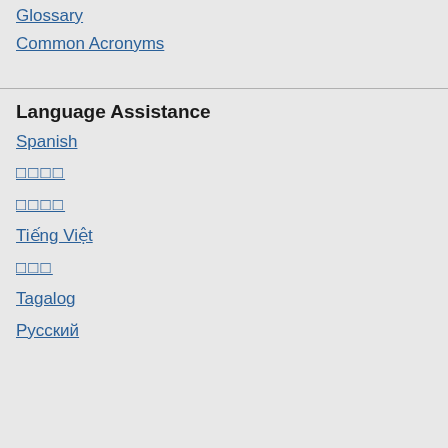Glossary
Common Acronyms
Language Assistance
Spanish
□□□□
□□□□
Tiếng Việt
□□□
Tagalog
Русский